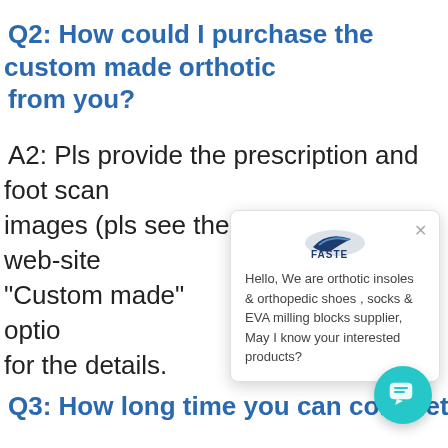Q2: How could I purchase the custom made orthotic from you?
A2: Pls provide the prescription and foot scan images (pls see the details from our web-site "Custom made" option by y for the details.
[Figure (screenshot): Chat popup overlay with logo 'FASTE' and message: Hello, We are orthotic insoles & orthopedic shoes , socks & EVA milling blocks supplier, May I know your interested products?]
Q3: How long time you can complete the produ